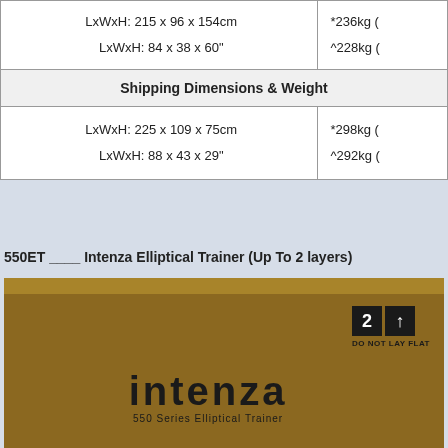| Dimensions | Weight |
| --- | --- |
| LxWxH: 215 x 96 x 154cm
LxWxH: 84 x 38 x 60" | *236kg (
ˆ228kg ( |
| Shipping Dimensions & Weight |  |
| LxWxH: 225 x 109 x 75cm
LxWxH: 88 x 43 x 29" | *298kg (
ˆ292kg ( |
550ET ____ Intenza Elliptical Trainer (Up To 2 layers)
[Figure (illustration): Brown cardboard shipping box for Intenza 550 Series Elliptical Trainer, showing the Intenza logo and '550 Series Elliptical Trainer' text, with a 'DO NOT LAY FLAT' label and stacking symbols in top right corner.]